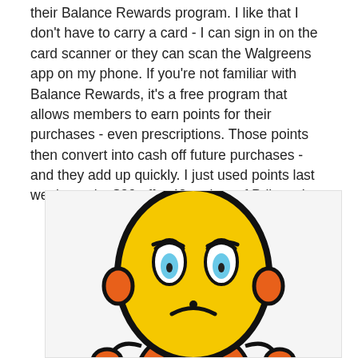their Balance Rewards program. I like that I don't have to carry a card - I can sign in on the card scanner or they can scan the Walgreens app on my phone. If you're not familiar with Balance Rewards, it's a free program that allows members to earn points for their purchases - even prescriptions. Those points then convert into cash off future purchases - and they add up quickly. I just used points last week to take $20 off a 42-ct. box of Prilosec!
[Figure (illustration): A cartoon illustration of a sad/worried yellow round-headed character with blue eyes, a frown, and orange hands/ears visible at the bottom, outlined in black, set against a light gray/white background.]